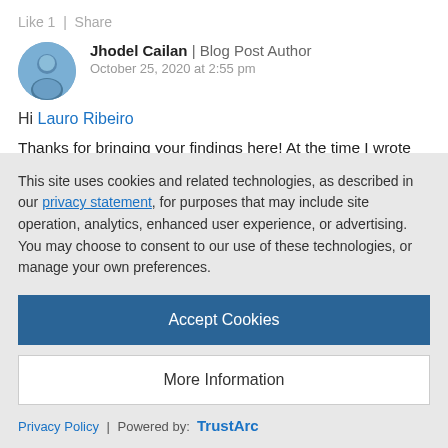Like 1  |  Share
Jhodel Cailan | Blog Post Author
October 25, 2020 at 2:55 pm
Hi Lauro Ribeiro
Thanks for bringing your findings here! At the time I wrote this blog, there's already a yeoman generator for the freestyle UI5 app, but it is still using the earlier generator (not from fiori tools). So now, I take a look at this generator that you mentioned and
This site uses cookies and related technologies, as described in our privacy statement, for purposes that may include site operation, analytics, enhanced user experience, or advertising. You may choose to consent to our use of these technologies, or manage your own preferences.
Accept Cookies
More Information
Privacy Policy | Powered by: TrustArc